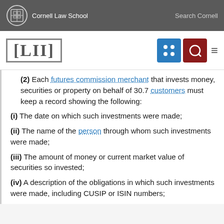Cornell Law School | Search Cornell
(2) Each futures commission merchant that invests money, securities or property on behalf of 30.7 customers must keep a record showing the following:
(i) The date on which such investments were made;
(ii) The name of the person through whom such investments were made;
(iii) The amount of money or current market value of securities so invested;
(iv) A description of the obligations in which such investments were made, including CUSIP or ISIN numbers;